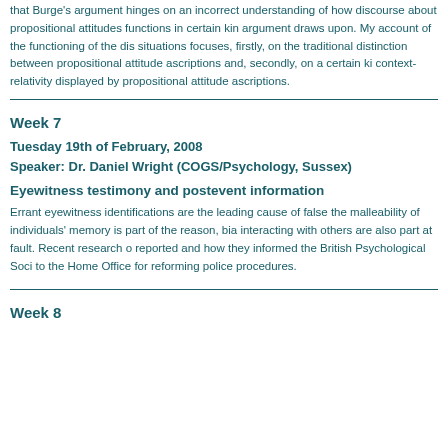that Burge's argument hinges on an incorrect understanding of how discourse about propositional attitudes functions in certain kinds of situations the argument draws upon. My account of the functioning of the discourse in such situations focuses, firstly, on the traditional distinction between de re and de dicto propositional attitude ascriptions and, secondly, on a certain kind of context-relativity displayed by propositional attitude ascriptions.
Week 7
Tuesday 19th of February, 2008
Speaker: Dr. Daniel Wright (COGS/Psychology, Sussex)
Eyewitness testimony and postevent information
Errant eyewitness identifications are the leading cause of false convictions; the malleability of individuals' memory is part of the reason, biases from interacting with others are also part at fault. Recent research on these topics is reported and how they informed the British Psychological Society guidelines and to the Home Office for reforming police procedures.
Week 8